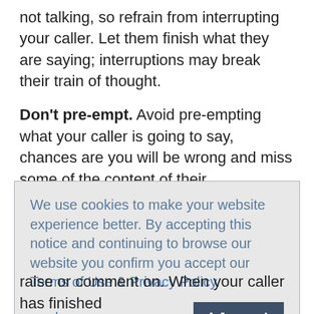not talking, so refrain from interrupting your caller. Let them finish what they are saying; interruptions may break their train of thought.
Don't pre-empt. Avoid pre-empting what your caller is going to say, chances are you will be wrong and miss some of the content of their conversation.
Paraphrase key facts. Paraphrase and reflect back to check you have heard the key facts and content of the caller's conversation correctly. It also lets the caller
We use cookies to make your website experience better. By accepting this notice and continuing to browse our website you confirm you accept our Terms of Use & Privacy Policy.

read more >>

I Accept
raise or comment on. When your caller has finished